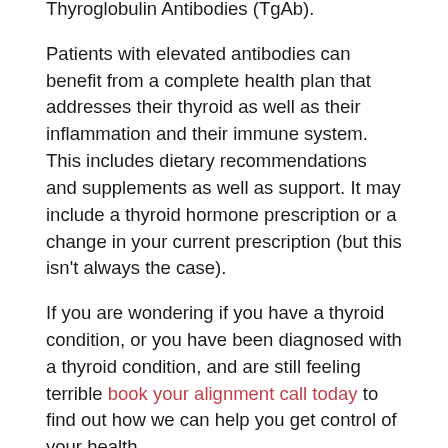Thyroglobulin Antibodies (TgAb).
Patients with elevated antibodies can benefit from a complete health plan that addresses their thyroid as well as their inflammation and their immune system. This includes dietary recommendations and supplements as well as support. It may include a thyroid hormone prescription or a change in your current prescription (but this isn't always the case).
If you are wondering if you have a thyroid condition, or you have been diagnosed with a thyroid condition, and are still feeling terrible book your alignment call today to find out how we can help you get control of your health.
In health,
Dr. Lisa
1. Biondi B, Cappola AR, Cooper DS. Subclinical